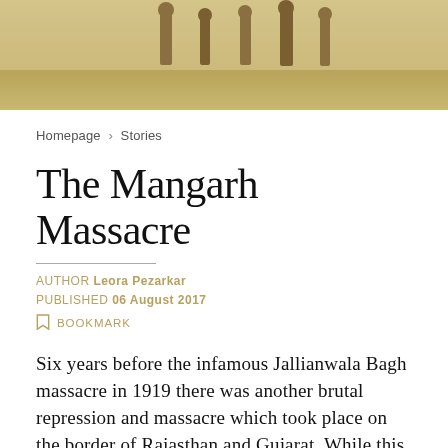[Figure (photo): Sepia-toned historical photograph showing people standing outdoors, partial view cropped at top of page]
Homepage › Stories
The Mangarh Massacre
AUTHOR Leora Pezarkar
PUBLISHED 06 August 2017
BOOKMARK
Six years before the infamous Jallianwala Bagh massacre in 1919 there was another brutal repression and massacre which took place on the border of Rajasthan and Gujarat. While this tragedy never seems to have reached our history textbooks,